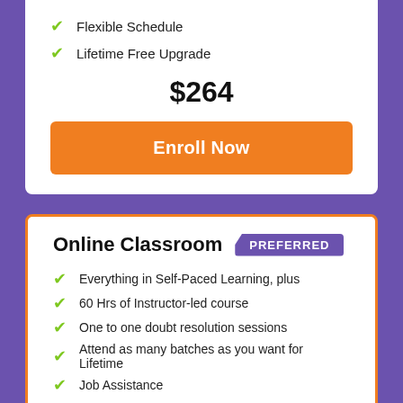✓ Flexible Schedule
✓ Lifetime Free Upgrade
$264
Enroll Now
Online Classroom PREFERRED
✓ Everything in Self-Paced Learning, plus
✓ 60 Hrs of Instructor-led course
✓ One to one doubt resolution sessions
✓ Attend as many batches as you want for Lifetime
✓ Job Assistance